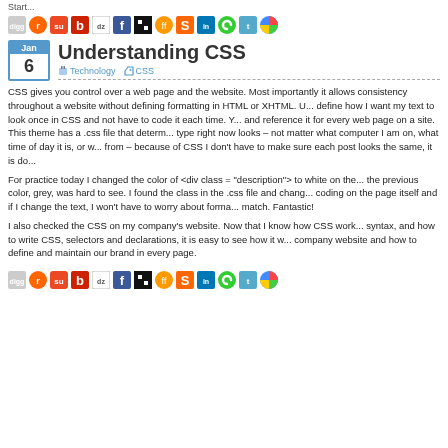Start...
[Figure (infographic): Row of social sharing icons including Digg, Reddit, StumbleUpon, Buzz, Delicious, Facebook, Delicious, FriendFeed, Swurl, LinkedIn, Google Connect, Twitter, Google Buzz]
Understanding CSS
Technology   CSS
CSS gives you control over a web page and the website. Most importantly it allows consistency throughout a website without defining formatting in HTML or XHTML. U... define how I want my text to look once in CSS and not have to code it each time. Y... and reference it for every web page on a site. This theme has a .css file that determ... type right now looks – not matter what computer I am on, what time of day it is, or w... from – because of CSS I don't have to make sure each post looks the same, it is do...
For practice today I changed the color of <div class = "description"> to white on the... the previous color, grey, was hard to see. I found the class in the .css file and chang... coding on the page itself and if I change the text, I won't have to worry about forma... match. Fantastic!
I also checked the CSS on my company's website. Now that I know how CSS work... syntax, and how to write CSS, selectors and declarations, it is easy to see how it w... company website and how to define and maintain our brand in every page.
[Figure (infographic): Row of social sharing icons (bottom) including Digg, Reddit, StumbleUpon, Buzz, dz, Facebook, Delicious, FriendFeed, Swurl, LinkedIn, Google Connect, Twitter, Google Buzz]